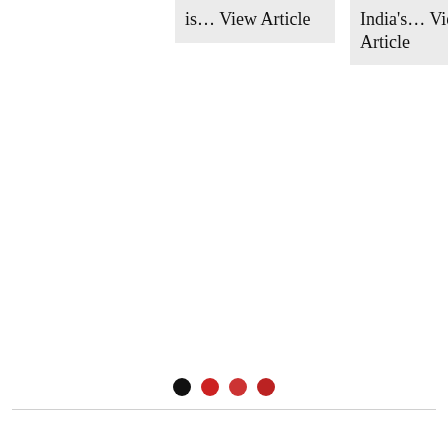is... View Article
India's... View Article
[Figure (other): Pagination dots: one black dot followed by three red dots]